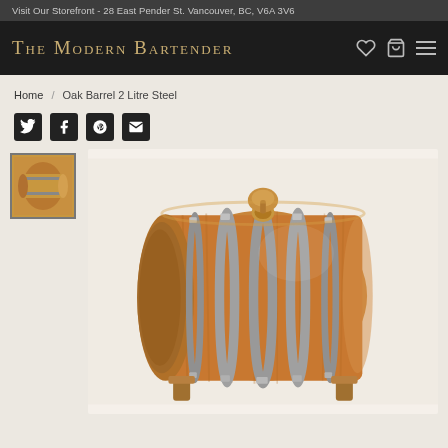Visit Our Storefront - 28 East Pender St. Vancouver, BC, V6A 3V6
The Modern Bartender
Home / Oak Barrel 2 Litre Steel
[Figure (photo): Social sharing icons: Twitter, Facebook, Pinterest, Email]
[Figure (photo): Product photo thumbnail of an oak barrel with steel hoops on a wooden stand]
[Figure (photo): Main product photo of an oak barrel 2 litre with steel hoops, shown at an angle on a wooden cradle stand, golden-brown wood with silver metal bands and a round wooden bung on top]